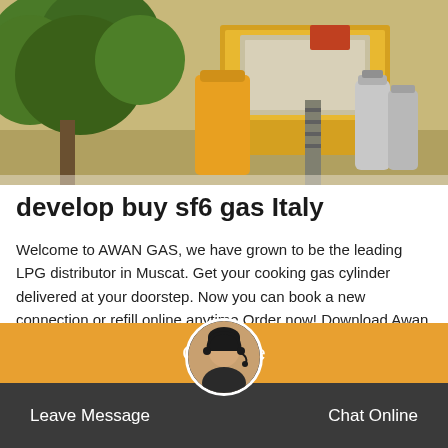[Figure (photo): Outdoor scene showing a yellow LPG gas delivery vehicle/structure with green trees on the left and gray gas cylinders on the right side]
develop buy sf6 gas Italy
Welcome to AWAN GAS, we have grown to be the leading LPG distributor in Muscat. Get your cooking gas cylinder delivered at your doorstep. Now you can book a new connection or refill online anytime.Order now! Download Awan Through a few clicks, you can
[Figure (photo): Customer service avatar/headset woman circular photo used as chat widget button]
Get Price
Leave Message
Chat Online